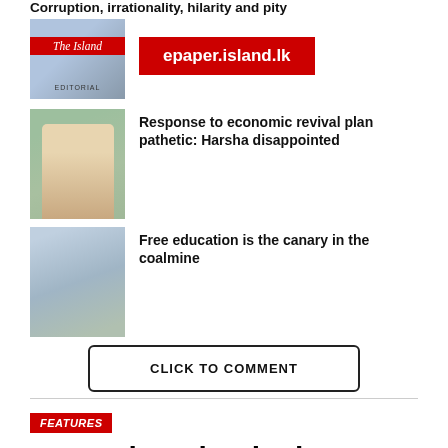Corruption, irrationality, hilarity and pity
[Figure (photo): The Island editorial logo/masthead thumbnail]
[Figure (screenshot): Red banner with text: epaper.island.lk]
[Figure (photo): Photo of a man speaking at microphones]
Response to economic revival plan pathetic: Harsha disappointed
[Figure (photo): Outdoor scene with buildings and people]
Free education is the canary in the coalmine
CLICK TO COMMENT
FEATURES
Free education is the canary in the